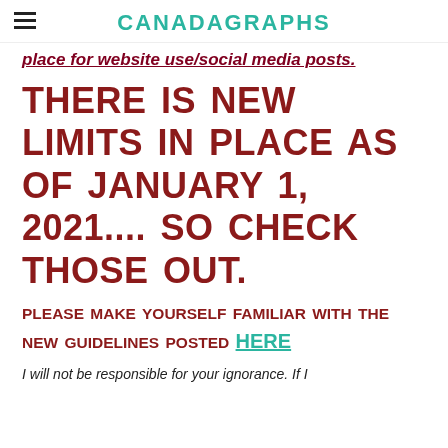CANADAGRAPHS
place for website use/social media posts.
THERE IS NEW LIMITS IN PLACE AS OF JANUARY 1, 2021.... SO CHECK THOSE OUT.
PLEASE MAKE YOURSELF FAMILIAR WITH THE NEW GUIDELINES POSTED HERE
I will not be responsible for your ignorance. If I